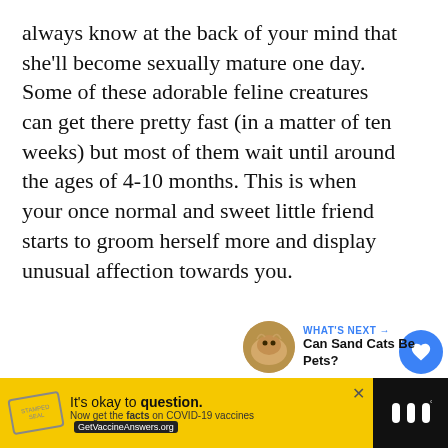always know at the back of your mind that she'll become sexually mature one day. Some of these adorable feline creatures can get there pretty fast (in a matter of ten weeks) but most of them wait until around the ages of 4-10 months. This is when your once normal and sweet little friend starts to groom herself more and display unusual affection towards you.
[Figure (other): Blue circular heart/like button with heart icon, like count of 5, and share button below]
[Figure (other): What's Next panel showing a cat thumbnail image and text: Can Sand Cats Be Pets?]
[Figure (other): Advertisement banner: It's okay to question. Now get the facts on COVID-19 vaccines. GetVaccineAnswers.org]